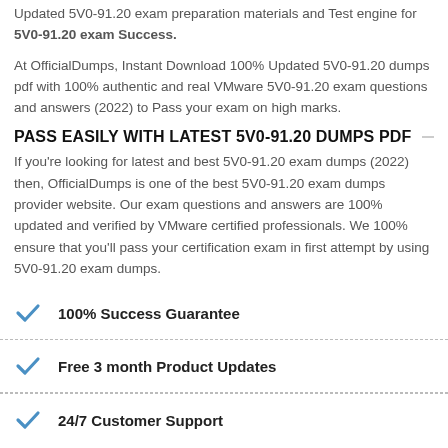Updated 5V0-91.20 exam preparation materials and Test engine for 5V0-91.20 exam Success.
At OfficialDumps, Instant Download 100% Updated 5V0-91.20 dumps pdf with 100% authentic and real VMware 5V0-91.20 exam questions and answers (2022) to Pass your exam on high marks.
PASS EASILY WITH LATEST 5V0-91.20 DUMPS PDF
If you're looking for latest and best 5V0-91.20 exam dumps (2022) then, OfficialDumps is one of the best 5V0-91.20 exam dumps provider website. Our exam questions and answers are 100% updated and verified by VMware certified professionals. We 100% ensure that you'll pass your certification exam in first attempt by using 5V0-91.20 exam dumps.
100% Success Guarantee
Free 3 month Product Updates
24/7 Customer Support